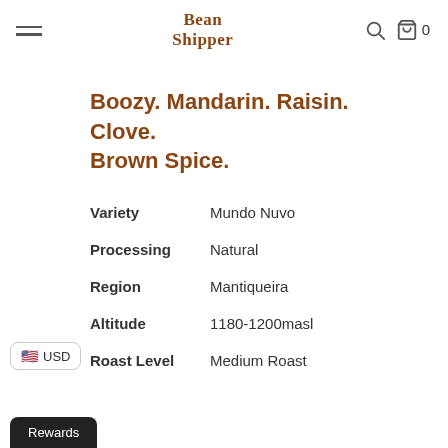Bean Shipper
Boozy. Mandarin. Raisin. Clove. Brown Spice.
Variety: Mundo Nuvo
Processing: Natural
Region: Mantiqueira
Altitude: 1180-1200masl
Roast Level: Medium Roast